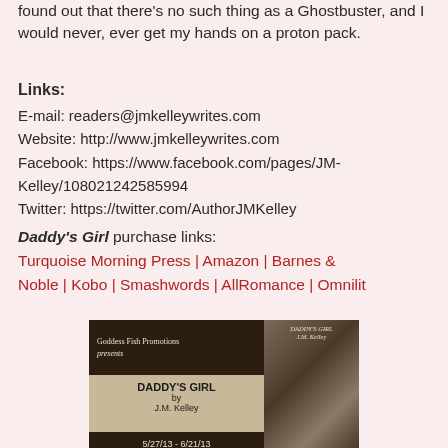found out that there's no such thing as a Ghostbuster, and I would never, ever get my hands on a proton pack.
Links:
E-mail: readers@jmkelleywrites.com
Website: http://www.jmkelleywrites.com
Facebook: https://www.facebook.com/pages/JM-Kelley/108021242585994
Twitter: https://twitter.com/AuthorJMKelley
Daddy's Girl purchase links: Turquoise Morning Press | Amazon | Barnes & Noble | Kobo | Smashwords | AllRomance | Omnilit
[Figure (infographic): Goddess Fish Promotions presents DADDY'S GIRL by J.M. Kelley 5/27/13 - 6/21/13 promotional banner with book cover image]